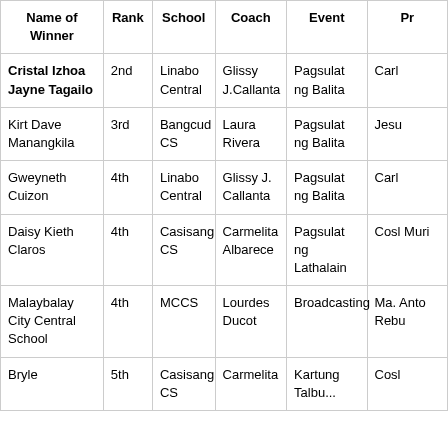| Name of Winner | Rank | School | Coach | Event | Pr... |
| --- | --- | --- | --- | --- | --- |
| Cristal Izhoa Jayne Tagailo | 2nd | Linabo Central | Glissy J.Callanta | Pagsulat ng Balita | Carl... |
| Kirt Dave Manangkila | 3rd | Bangcud CS | Laura Rivera | Pagsulat ng Balita | Jesu... |
| Gweyneth Cuizon | 4th | Linabo Central | Glissy J. Callanta | Pagsulat ng Balita | Carl... |
| Daisy Kieth Claros | 4th | Casisang CS | Carmelita Albarece | Pagsulat ng Lathalain | Cosl... Muri... |
| Malaybalay City Central School | 4th | MCCS | Lourdes Ducot | Broadcasting | Ma. Anto... Rebu... |
| Bryle ... | 5th | Casisang CS | Carmelita ... | Kartung Talbu... | Cosl... |